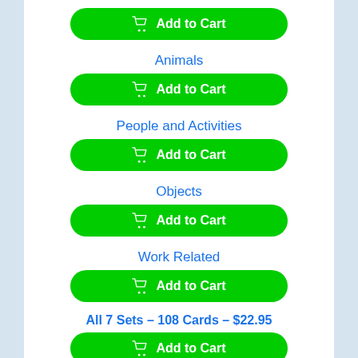[Figure (other): Green Add to Cart button at the top]
Animals
[Figure (other): Green Add to Cart button for Animals]
People and Activities
[Figure (other): Green Add to Cart button for People and Activities]
Objects
[Figure (other): Green Add to Cart button for Objects]
Work Related
[Figure (other): Green Add to Cart button for Work Related]
All 7 Sets – 108 Cards – $22.95
[Figure (other): Green Add to Cart button for All 7 Sets]